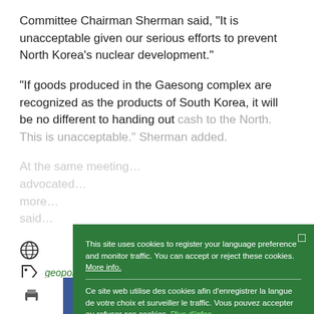Committee Chairman Sherman said, “It is unacceptable given our serious efforts to prevent North Korea’s nuclear development.”
“If goods produced in the Gaesong complex are recognized as the products of South Korea, it will be no different to handing out cash to the North. This is unacceptable.” Sherman added.
At the same meeting… [partially obscured by overlay]
This site uses cookies to register your language preference and monitor traffic. You can accept or reject these cookies. More info.
Ce site web utilise des cookies afin d’enregistrer la langue de votre choix et surveiller le traffic. Vous pouvez accepter ou refuser ces cookies. Plus d’infos.
Este sitio web utiliza cookies con el objetivo de registrar su idioma preferido y controlar el tráfico. Puede aceptar o rechazar estas cookies. Mayor información.
Ok
geopolitics   Korea   US